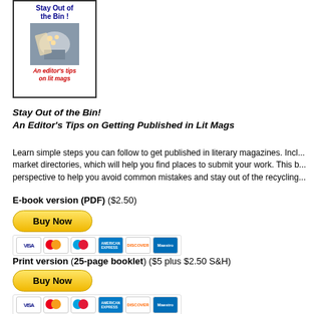[Figure (illustration): Book cover for 'Stay Out of the Bin! An Editor's Tips on Lit Mags' with blue bold title text, a photo of hands with seeds/papers, and red italic subtitle text]
Stay Out of the Bin!
An Editor's Tips on Getting Published in Lit Mags
Learn simple steps you can follow to get published in literary magazines. Includes market directories, which will help you find places to submit your work. This book gives an insider's perspective to help you avoid common mistakes and stay out of the recycling bin.
E-book version (PDF) ($2.50)
[Figure (other): Yellow 'Buy Now' PayPal button]
[Figure (other): Payment method icons: Visa, Mastercard, Maestro, American Express, Discover, Maestro]
Print version (25-page booklet) ($5 plus $2.50 S&H)
[Figure (other): Yellow 'Buy Now' PayPal button]
[Figure (other): Payment method icons: Visa, Mastercard, Maestro, American Express, Discover, Maestro]